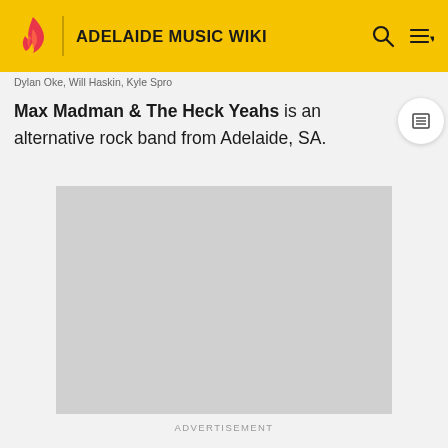ADELAIDE MUSIC WIKI
Dylan Oke, Will Haskin, Kyle Spro
Max Madman & The Heck Yeahs is an alternative rock band from Adelaide, SA.
[Figure (other): Gray rectangle placeholder advertisement area]
ADVERTISEMENT